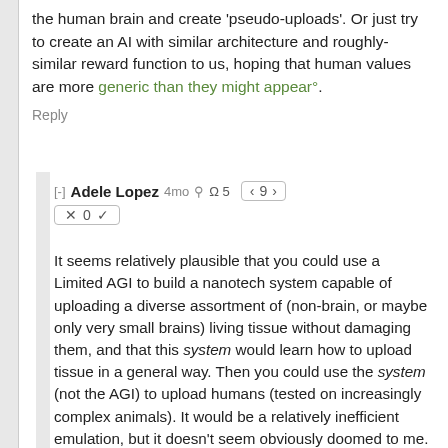the human brain and create 'pseudo-uploads'. Or just try to create an AI with similar architecture and roughly-similar reward function to us, hoping that human values are more generic than they might appear°.
Reply
[-] Adele Lopez 4mo ⚲ Ω 5  < 9 >  × 0 ✓
It seems relatively plausible that you could use a Limited AGI to build a nanotech system capable of uploading a diverse assortment of (non-brain, or maybe only very small brains) living tissue without damaging them, and that this system would learn how to upload tissue in a general way. Then you could use the system (not the AGI) to upload humans (tested on increasingly complex animals). It would be a relatively inefficient emulation, but it doesn't seem obviously doomed to me.

Probably too late once hardware is available to do this though.